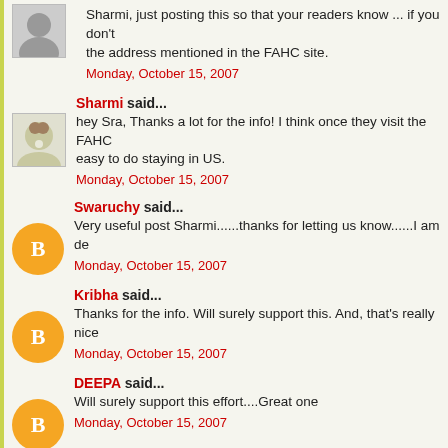Sharmi, just posting this so that your readers know ... if you don't the address mentioned in the FAHC site.
Monday, October 15, 2007
Sharmi said...
hey Sra, Thanks a lot for the info! I think once they visit the FAHC easy to do staying in US.
Monday, October 15, 2007
Swaruchy said...
Very useful post Sharmi......thanks for letting us know......I am de
Monday, October 15, 2007
Kribha said...
Thanks for the info. Will surely support this. And, that's really nice
Monday, October 15, 2007
DEEPA said...
Will surely support this effort....Great one
Monday, October 15, 2007